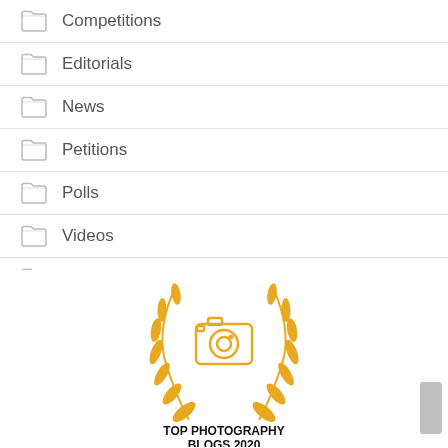Competitions
Editorials
News
Petitions
Polls
Videos
Wildlife
[Figure (logo): Top Photography Blogs 2020 award badge with golden laurel wreath and camera icon]